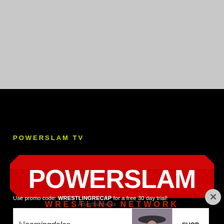[Figure (screenshot): Gray top area representing a webpage header/video area background]
POWERSLAM TV
[Figure (logo): Powerslam Wrestling Network logo — red angular background with large white bold text POWERSLAM and red text WRESTLING NETWORK below]
Use promo code: WRESTLINGRECAP for a free 30 day trial!
[Figure (other): Close button (X) circle in bottom right]
Advertisements
[Figure (other): Bloomingdale's advertisement banner: bloomingdales logo, View Today's Top Deals!, woman in hat photo, SHOP NOW >]